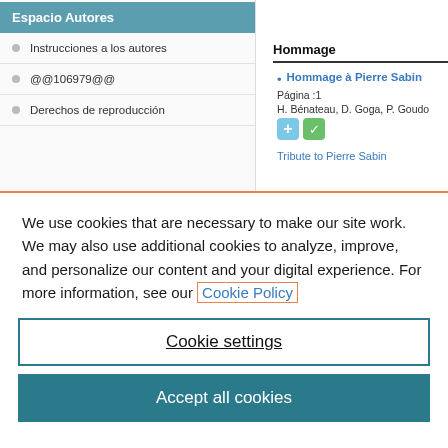Espacio Autores
Instrucciones a los autores
@@106979@@
Derechos de reproducción
Hommage
Hommage à Pierre Sabin
Página :1
H. Bénateau, D. Goga, P. Goudo...
Tribute to Pierre Sabin
We use cookies that are necessary to make our site work. We may also use additional cookies to analyze, improve, and personalize our content and your digital experience. For more information, see our Cookie Policy
Cookie settings
Accept all cookies